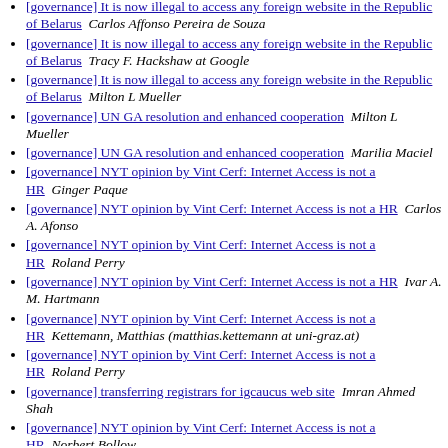[governance] It is now illegal to access any foreign website in the Republic of Belarus  Carlos Affonso Pereira de Souza
[governance] It is now illegal to access any foreign website in the Republic of Belarus  Tracy F. Hackshaw at Google
[governance] It is now illegal to access any foreign website in the Republic of Belarus  Milton L Mueller
[governance] UN GA resolution and enhanced cooperation  Milton L Mueller
[governance] UN GA resolution and enhanced cooperation  Marilia Maciel
[governance] NYT opinion by Vint Cerf: Internet Access is not a HR  Ginger Paque
[governance] NYT opinion by Vint Cerf: Internet Access is not a HR  Carlos A. Afonso
[governance] NYT opinion by Vint Cerf: Internet Access is not a HR  Roland Perry
[governance] NYT opinion by Vint Cerf: Internet Access is not a HR  Ivar A. M. Hartmann
[governance] NYT opinion by Vint Cerf: Internet Access is not a HR  Kettemann, Matthias (matthias.kettemann at uni-graz.at)
[governance] NYT opinion by Vint Cerf: Internet Access is not a HR  Roland Perry
[governance] transferring registrars for igcaucus web site  Imran Ahmed Shah
[governance] NYT opinion by Vint Cerf: Internet Access is not a HR  Norbert Bollow